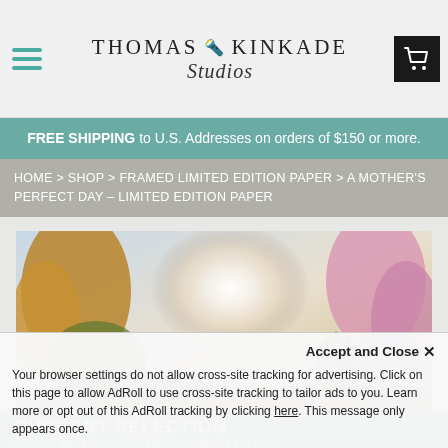Thomas Kinkade Studios
FREE SHIPPING to U.S. Addresses on orders of $150 or more.
HOME > SHOP > FRAMED LIMITED EDITION PAPER > A MOTHER'S PERFECT DAY – LIMITED EDITION PAPER
[Figure (photo): Painting of a glowing autumnal scene with trees and a cottage, luminous misty light at center, Thomas Kinkade style]
CURRENT SELECTION
Medium: PAPER | Edition: SN | Size: 35.5X24 | Frame: ...
Accept and Close ✕
Your browser settings do not allow cross-site tracking for advertising. Click on this page to allow AdRoll to use cross-site tracking to tailor ads to you. Learn more or opt out of this AdRoll tracking by clicking here. This message only appears once.